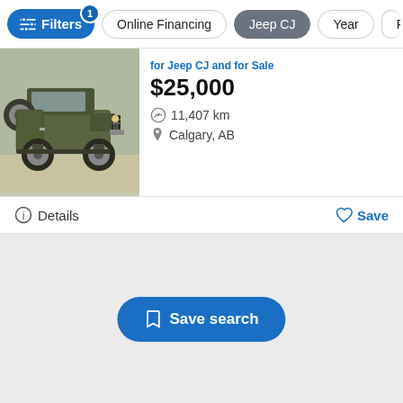[Figure (screenshot): Car listing search interface showing filter bar with Filters button (active, count 1), Online Financing pill, Jeep CJ pill (selected/dark), Year pill, and a partially visible Pr pill. Below is a listing card for a Jeep CJ with photo, price $25,000, 11,407 km, Calgary AB. Details and Save buttons are shown. A Save search button appears at the bottom center of an otherwise empty results area.]